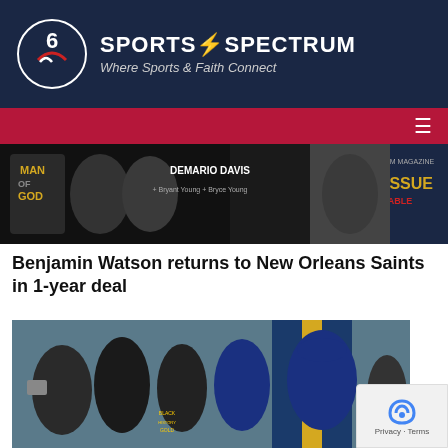Sports Spectrum — Where Sports & Faith Connect
[Figure (photo): Sports Spectrum magazine banner advertisement showing Man of God issue featuring Demario Davis, with Bryant Young and Bryce Young, Fall Issue Now Available]
Benjamin Watson returns to New Orleans Saints in 1-year deal
[Figure (photo): Group of men posing outdoors near a colorful blue and yellow building, some wearing sports gear and casual clothing, appears to be in New Orleans]